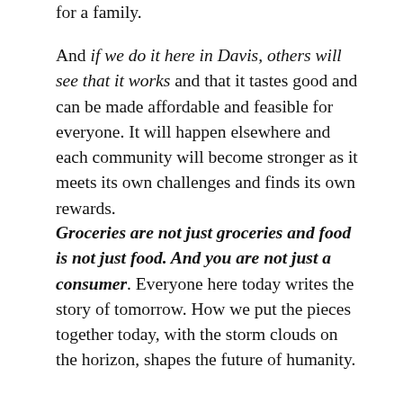for a family.
And if we do it here in Davis, others will see that it works and that it tastes good and can be made affordable and feasible for everyone. It will happen elsewhere and each community will become stronger as it meets its own challenges and finds its own rewards.
Groceries are not just groceries and food is not just food. And you are not just a consumer. Everyone here today writes the story of tomorrow. How we put the pieces together today, with the storm clouds on the horizon, shapes the future of humanity.